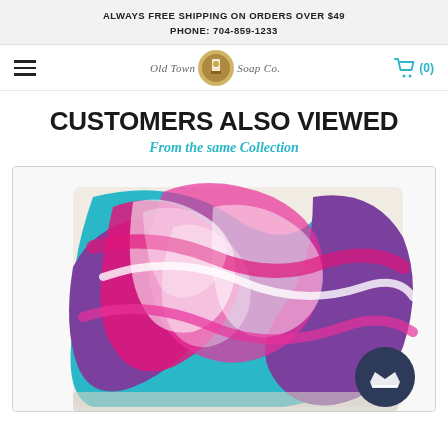ALWAYS FREE SHIPPING ON ORDERS OVER $49
PHONE: 704-859-1233
[Figure (logo): Old Town Soap Co. logo with navigation bar including hamburger menu and cart icon with (0) count]
CUSTOMERS ALSO VIEWED
From the same Collection
[Figure (photo): A bar of artisan soap with swirling colors of pink, magenta, teal/blue, purple, and white on a white background]